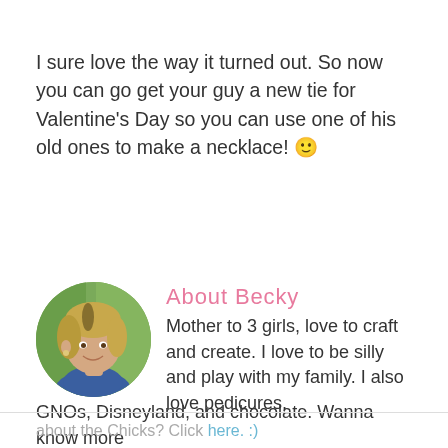I sure love the way it turned out. So now you can go get your guy a new tie for Valentine's Day so you can use one of his old ones to make a necklace! 🙂
[Figure (photo): Circular portrait photo of Becky, a woman with blonde hair, smiling, wearing a blue top, with green foliage in background.]
About Becky
Mother to 3 girls, love to craft and create. I love to be silly and play with my family. I also love pedicures, GNOs, Disneyland, and chocolate. Wanna know more about the Chicks? Click here. :)